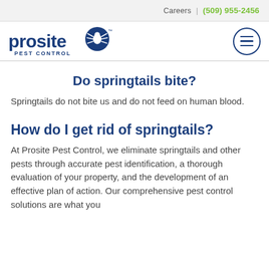Careers | (509) 955-2456
[Figure (logo): Prosite Pest Control logo with spider icon in blue circle, company name in dark blue]
Do springtails bite?
Springtails do not bite us and do not feed on human blood.
How do I get rid of springtails?
At Prosite Pest Control, we eliminate springtails and other pests through accurate pest identification, a thorough evaluation of your property, and the development of an effective plan of action. Our comprehensive pest control solutions are what you